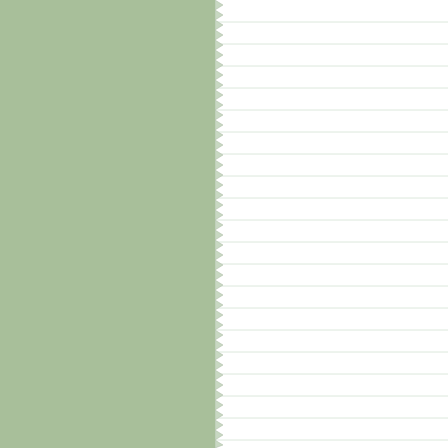[Figure (illustration): Lined notepad paper with jagged/perforated left edge, set against a sage green background]
language... English p...
The threa... fact that t... is the dar... former is... an alterna... Septemb... pandemi...
Given the... current in... opportune... begin ope... the Englis... present m...
Other cyb... cooperate... market fo... certain if... brazen th... time, but...
First unde... underline... companie... especially...